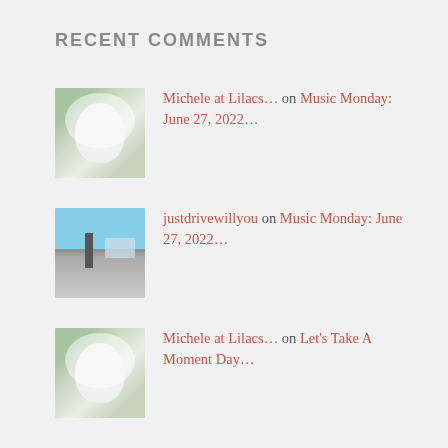RECENT COMMENTS
Michele at Lilacs… on Music Monday: June 27, 2022…
justdrivewillyou on Music Monday: June 27, 2022…
Michele at Lilacs… on Let's Take A Moment Day…
[Figure (screenshot): DuckDuckGo advertisement banner with orange background showing 'Search, browse, and email with more privacy. All in One Free App' text and phone graphic with DuckDuckGo logo]
Advertisements